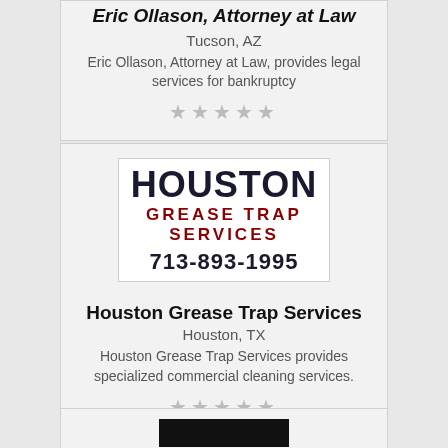Eric Ollason, Attorney at Law
Tucson, AZ
Eric Ollason, Attorney at Law, provides legal services for bankruptcy
★★★★★
[Figure (logo): Houston Grease Trap Services logo with phone number 713-893-1995]
Houston Grease Trap Services
Houston, TX
Houston Grease Trap Services provides specialized commercial cleaning services.
★★★★★